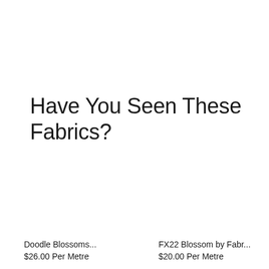Have You Seen These Fabrics?
Doodle Blossoms...
$26.00 Per Metre
FX22 Blossom by Fabr...
$20.00 Per Metre